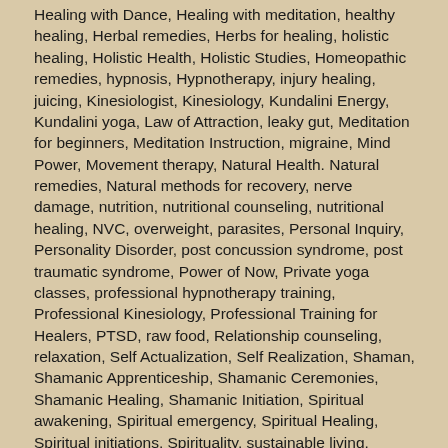Healing with Dance, Healing with meditation, healthy healing, Herbal remedies, Herbs for healing, holistic healing, Holistic Health, Holistic Studies, Homeopathic remedies, hypnosis, Hypnotherapy, injury healing, juicing, Kinesiologist, Kinesiology, Kundalini Energy, Kundalini yoga, Law of Attraction, leaky gut, Meditation for beginners, Meditation Instruction, migraine, Mind Power, Movement therapy, Natural Health. Natural remedies, Natural methods for recovery, nerve damage, nutrition, nutritional counseling, nutritional healing, NVC, overweight, parasites, Personal Inquiry, Personality Disorder, post concussion syndrome, post traumatic syndrome, Power of Now, Private yoga classes, professional hypnotherapy training, Professional Kinesiology, Professional Training for Healers, PTSD, raw food, Relationship counseling, relaxation, Self Actualization, Self Realization, Shaman, Shamanic Apprenticeship, Shamanic Ceremonies, Shamanic Healing, Shamanic Initiation, Spiritual awakening, Spiritual emergency, Spiritual Healing, Spiritual initiations, Spirituality, sustainable living, Sweet Medicine Sundance